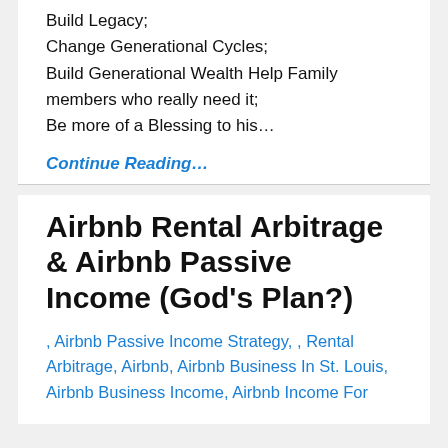Build Legacy;
Change Generational Cycles;
Build Generational Wealth Help Family members who really need it;
Be more of a Blessing to his…
Continue Reading…
Airbnb Rental Arbitrage & Airbnb Passive Income (God's Plan?)
, Airbnb Passive Income Strategy, , Rental Arbitrage, Airbnb, Airbnb Business In St. Louis, Airbnb Business Income, Airbnb Income For